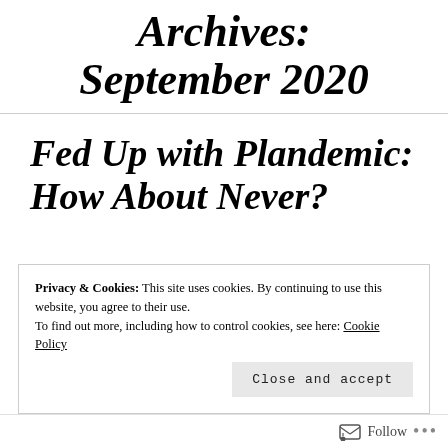Archives: September 2020
Fed Up with Plandemic: How About Never?
Privacy & Cookies: This site uses cookies. By continuing to use this website, you agree to their use. To find out more, including how to control cookies, see here: Cookie Policy
Close and accept
Follow